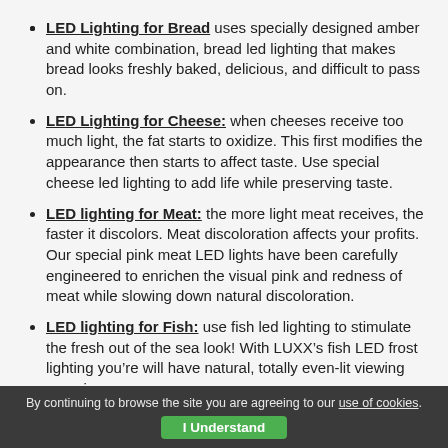LED Lighting for Bread uses specially designed amber and white combination, bread led lighting that makes bread looks freshly baked, delicious, and difficult to pass on.
LED Lighting for Cheese: when cheeses receive too much light, the fat starts to oxidize. This first modifies the appearance then starts to affect taste. Use special cheese led lighting to add life while preserving taste.
LED lighting for Meat: the more light meat receives, the faster it discolors. Meat discoloration affects your profits. Our special pink meat LED lights have been carefully engineered to enrichen the visual pink and redness of meat while slowing down natural discoloration.
LED lighting for Fish: use fish led lighting to stimulate the fresh out of the sea look! With LUXX’s fish LED frost lighting you’re will have natural, totally even-lit viewing experience.
Fresh Fruit and Vegetables LED Lightings: improve produce sales by 3.5% using fresh fruit and vegetables LED lighting. A well-lit produce area the features high CRI led lighting that
By continuing to browse the site you are agreeing to our use of cookies. I Understand